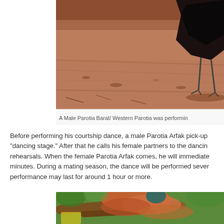[Figure (photo): Partial view of a Male Parotia Barat / Western Parotia bird on reddish-brown ground, showing dark body and legs]
A Male Parotia Barat/ Western Parotia was performin
Before performing his courtship dance, a male Parotia Arfak pick-up "dancing stage." After that he calls his female partners to the dancin rehearsals. When the female Parotia Arfak comes, he will immediate minutes. During a mating season, the dance will be performed sever performance may last for around 1 hour or more.
[Figure (photo): Colorful bird of paradise with orange/red wing feathers and teal/green head markings, perched on tree branches with green foliage in background]